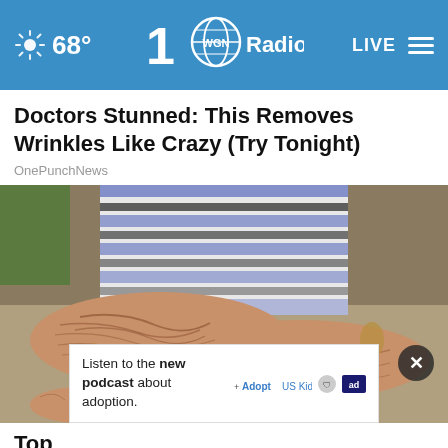68° WGN Radio LIVE
Doctors Stunned: This Removes Wrinkles Like Crazy (Try Tonight)
OnePunchNews
[Figure (photo): Close-up photo of elderly person's wrinkled forearms and hands resting on a surface, wearing striped shirt and bracelets]
Listen to the new podcast about adoption.
Top
Skin